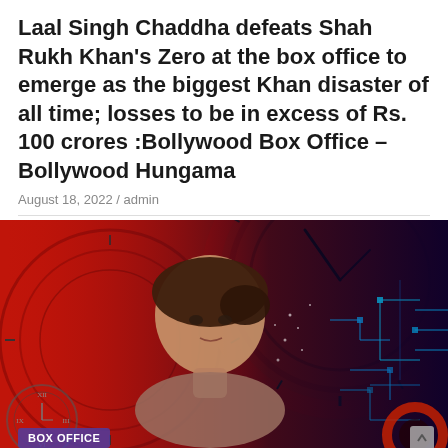Laal Singh Chaddha defeats Shah Rukh Khan's Zero at the box office to emerge as the biggest Khan disaster of all time; losses to be in excess of Rs. 100 crores :Bollywood Box Office – Bollywood Hungama
August 18, 2022 / admin
[Figure (photo): Movie promotional poster with a woman's face against a red background with large clock imagery, digital circuit elements on the right side, and a 'BOX OFFICE' badge in the lower left corner.]
Box Office Predictions: Taapsoo Pannu and Anurag